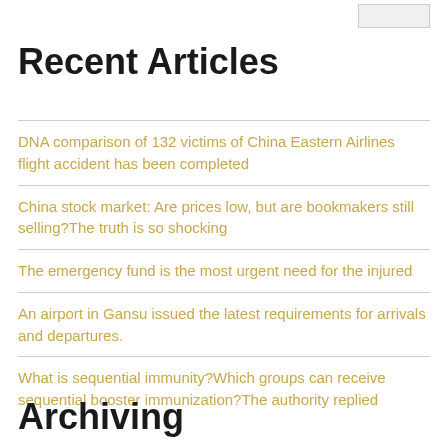Recent Articles
DNA comparison of 132 victims of China Eastern Airlines flight accident has been completed
China stock market: Are prices low, but are bookmakers still selling?The truth is so shocking
The emergency fund is the most urgent need for the injured
An airport in Gansu issued the latest requirements for arrivals and departures.
What is sequential immunity?Which groups can receive sequential booster immunization?The authority replied
Archiving